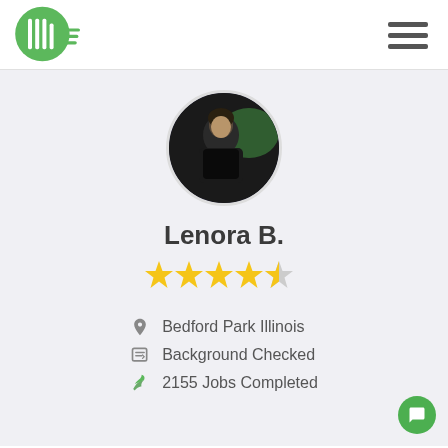[Figure (logo): Green circular logo with vertical lines pattern resembling a hand/grid, with horizontal green lines to the right]
[Figure (photo): Circular profile photo of a woman (Lenora B.) sitting in what appears to be a vehicle, dark background with hints of outdoor scenery]
Lenora B.
[Figure (other): Five gold stars rating (approximately 4.5-5 stars)]
Bedford Park Illinois
Background Checked
2155 Jobs Completed